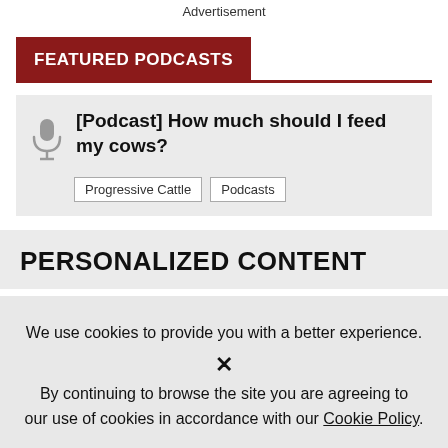Advertisement
FEATURED PODCASTS
[Podcast] How much should I feed my cows?
Progressive Cattle
Podcasts
PERSONALIZED CONTENT
We use cookies to provide you with a better experience. By continuing to browse the site you are agreeing to our use of cookies in accordance with our Cookie Policy.